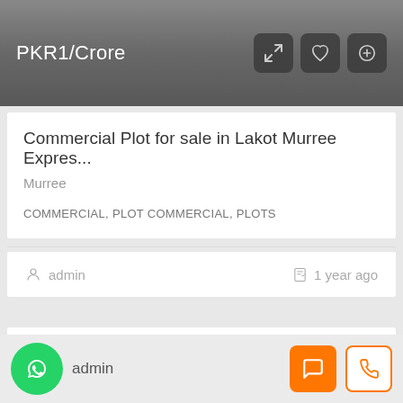PKR1/Crore
Commercial Plot for sale in Lakot Murree Expres...
Murree
COMMERCIAL, PLOT COMMERCIAL, PLOTS
admin  1 year ago
[Figure (screenshot): White card area with red FOR SALE badge in upper right]
admin